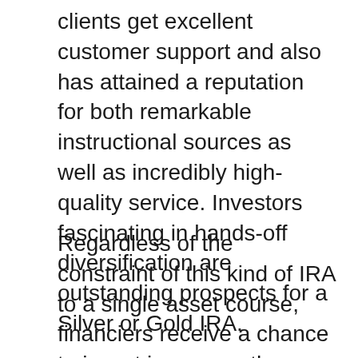clients get excellent customer support and also has attained a reputation for both remarkable instructional sources as well as incredibly high-quality service. Investors fascinating in hands-off diversification are outstanding prospects for a Silver or Gold IRA.
Regardless of the constraint of this kind of IRA to a single asset course, financiers receive a chance to invest in rare-earth elements as a hedge for paper financial investments. This is various than purchasing funds, stocks or bonds since the need to hang out performing market research to establish the best investments for a rare-earth elements individual retirement account has actually been eliminated. The client just